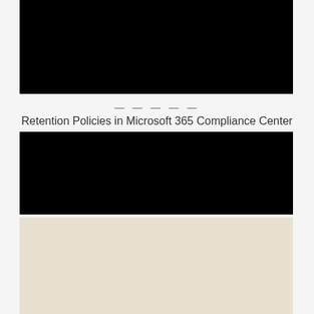[Figure (screenshot): Black video player block (top)]
— — — — —
Retention Policies in Microsoft 365 Compliance Center
[Figure (screenshot): Black video player block (bottom)]
[Figure (screenshot): Microsoft 365 Security Administrator MS-500 course thumbnail with SECTION 9 label and arrow/play button]
Microsoft 365 Security Administrator
MS-500
SECTION 9